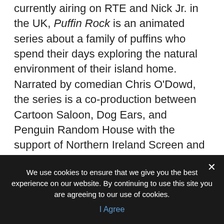currently airing on RTE and Nick Jr. in the UK, Puffin Rock is an animated series about a family of puffins who spend their days exploring the natural environment of their island home. Narrated by comedian Chris O'Dowd, the series is a co-production between Cartoon Saloon, Dog Ears, and Penguin Random House with the support of Northern Ireland Screen and the Irish Film Board.
Netflix airs the series internationally in a number of countries including the U.S. and Japan and a number of international broadcasters including SVT in Sweden, NRK in Norway, DR in Denmark, RUV in Iceland, and ABC in Australia have already picked up the
We use cookies to ensure that we give you the best experience on our website. By continuing to use this site you are agreeing to our use of cookies.
I Agree